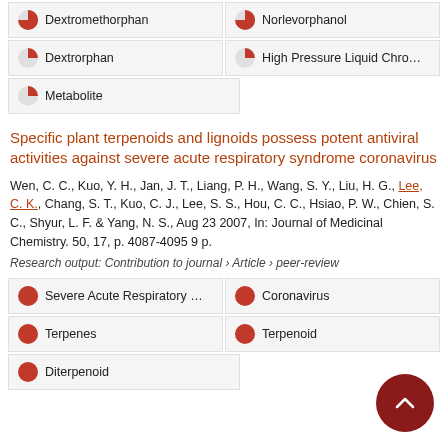Dextromethorphan
Norlevorphanol
Dextrorphan
High Pressure Liquid Chromato
Metabolite
Specific plant terpenoids and lignoids possess potent antiviral activities against severe acute respiratory syndrome coronavirus
Wen, C. C., Kuo, Y. H., Jan, J. T., Liang, P. H., Wang, S. Y., Liu, H. G., Lee, C. K., Chang, S. T., Kuo, C. J., Lee, S. S., Hou, C. C., Hsiao, P. W., Chien, S. C., Shyur, L. F. & Yang, N. S., Aug 23 2007, In: Journal of Medicinal Chemistry. 50, 17, p. 4087-4095 9 p.
Research output: Contribution to journal › Article › peer-review
Severe Acute Respiratory Syndro
Coronavirus
Terpenes
Terpenoid
Diterpenoid